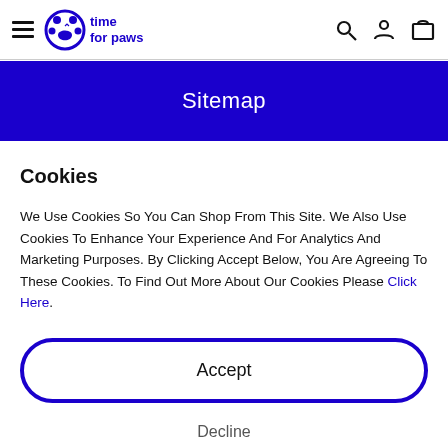time for paws — navigation bar with hamburger menu, logo, search, account, cart icons
Sitemap
Cookies
We Use Cookies So You Can Shop From This Site. We Also Use Cookies To Enhance Your Experience And For Analytics And Marketing Purposes. By Clicking Accept Below, You Are Agreeing To These Cookies. To Find Out More About Our Cookies Please Click Here.
Accept
Decline